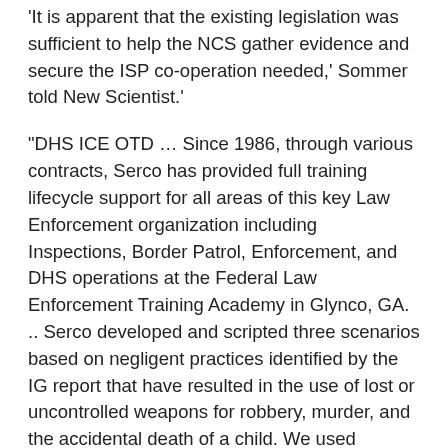'It is apparent that the existing legislation was sufficient to help the NCS gather evidence and secure the ISP co-operation needed,' Sommer told New Scientist.'
"DHS ICE OTD … Since 1986, through various contracts, Serco has provided full training lifecycle support for all areas of this key Law Enforcement organization including Inspections, Border Patrol, Enforcement, and DHS operations at the Federal Law Enforcement Training Academy in Glynco, GA. .. Serco developed and scripted three scenarios based on negligent practices identified by the IG report that have resulted in the use of lost or uncontrolled weapons for robbery, murder, and the accidental death of a child. We used creative animation techniques, sound effects, music, and talented voice actors playing multiple characters to create an emotional appeal much different—and infinitely more powerful—from the standard WBT offering.
Serco has trained more than 400,000 DHS students in every region and district, at every land, air and sea border crossing, in classrooms, through WBT, train-the-trainer programs, on-the-job training and through the implementation of performance support systems in a blended learning environment. In collaboration with